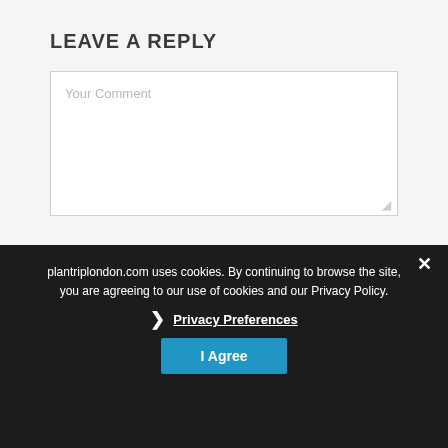LEAVE A REPLY
Your Comment
plantriplondon.com uses cookies. By continuing to browse the site, you are agreeing to our use of cookies and our Privacy Policy.
Privacy Preferences
I Agree
Name *
Email *